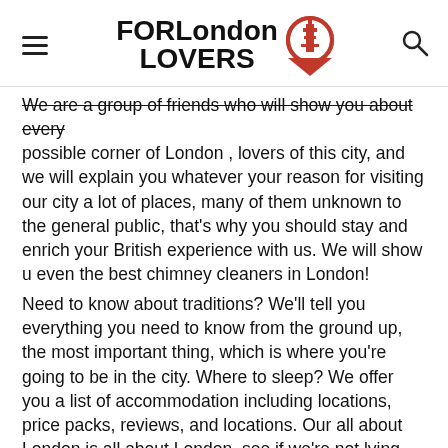FOR London LOVERS [logo with location pin icon] [hamburger menu] [search icon]
We are a group of friends who will show you about every possible corner of London , lovers of this city, and we will explain you whatever your reason for visiting our city a lot of places, many of them unknown to the general public, that's why you should stay and enrich your British experience with us. We will show u even the best chimney cleaners in London!
Need to know about traditions? We'll tell you everything you need to know from the ground up, the most important thing, which is where you're going to be in the city. Where to sleep? We offer you a list of accommodation including locations, price packs, reviews, and locations. Our all about London is all about London, see if we're not lying, we offer tips and common questions that people who travel there have, such as how the appliances work there, or how